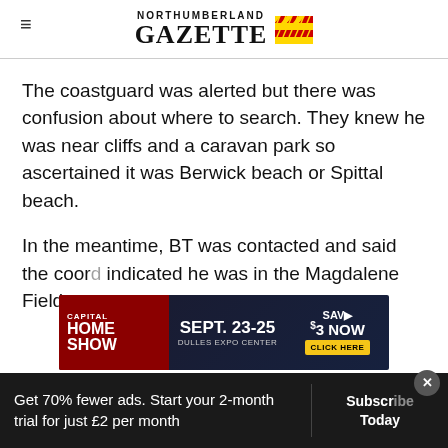NORTHUMBERLAND GAZETTE
The coastguard was alerted but there was confusion about where to search. They knew he was near cliffs and a caravan park so ascertained it was Berwick beach or Spittal beach.
In the meantime, BT was contacted and said the coordinates indicated he was in the Magdalene Fields area
[Figure (screenshot): Capital Home Show advertisement banner: SEPT. 23-25, DULLES EXPO CENTER, SAVE $3 NOW, CLICK HERE]
Get 70% fewer ads. Start your 2-month trial for just £2 per month
Subscribe Today